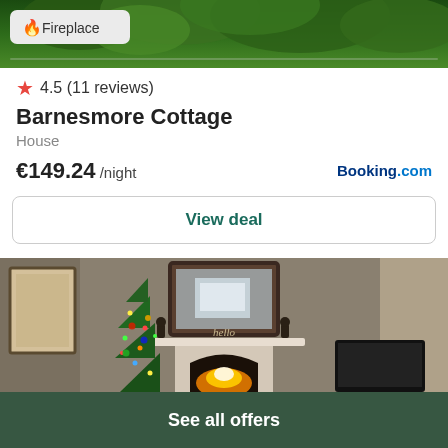[Figure (photo): Top portion of exterior photo of Barnesmore Cottage showing green trees/foliage with a Fireplace badge overlay]
4.5 (11 reviews)
Barnesmore Cottage
House
€149.24 /night
Booking.com
View deal
[Figure (photo): Interior photo of a cozy living room with a lit fireplace, Christmas tree decorated with lights and ornaments, a mirror above the fireplace mantel, and a TV to the right]
See all offers